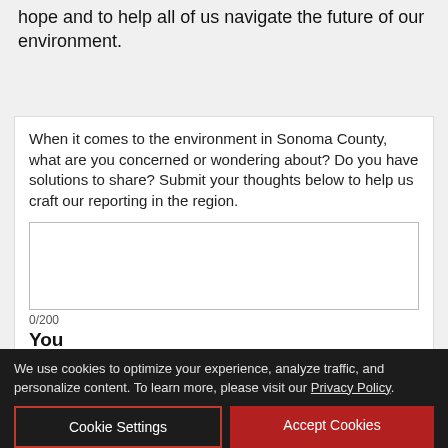hope and to help all of us navigate the future of our environment.
When it comes to the environment in Sonoma County, what are you concerned or wondering about? Do you have solutions to share? Submit your thoughts below to help us craft our reporting in the region.
0/200
You
[Figure (photo): Advertisement for Green Music Center Summer at the Green 2022, showing an aerial photo of the outdoor music venue with a Buy Tickets button, and teal banner with event branding.]
We use cookies to optimize your experience, analyze traffic, and personalize content. To learn more, please visit our Privacy Policy.
Cookie Settings
Accept Cookies